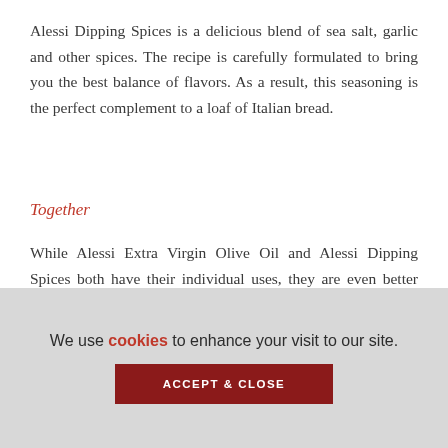Alessi Dipping Spices is a delicious blend of sea salt, garlic and other spices. The recipe is carefully formulated to bring you the best balance of flavors. As a result, this seasoning is the perfect complement to a loaf of Italian bread.
Together
While Alessi Extra Virgin Olive Oil and Alessi Dipping Spices both have their individual uses, they are even better when used together. For a delicious appetizer, add a few grinds of Dipping Spices to a little bit of olive oil. You can dip pieces of crusty bread into the dip and enjoy!
We use cookies to enhance your visit to our site.
ACCEPT & CLOSE